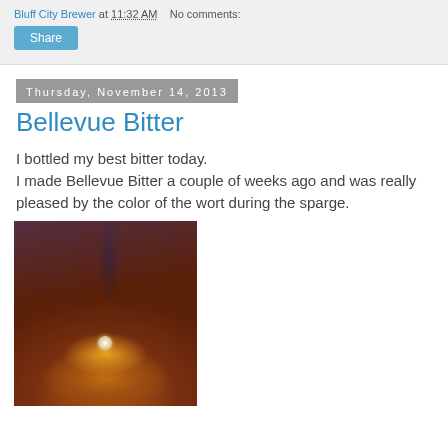Bluff City Brewer at 11:32 AM   No comments:
Share
Thursday, November 14, 2013
Bellevue Bitter
I bottled my best bitter today.
I made Bellevue Bitter a couple of weeks ago and was really pleased by the color of the wort during the sparge.
[Figure (photo): Photo of amber/orange wort liquid being poured into a container during the sparge process, showing vivid golden-amber color.]